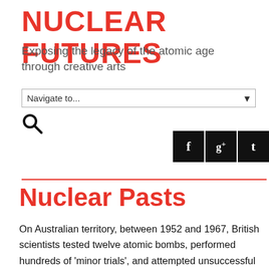NUCLEAR FUTURES
Exposing the legacy of the atomic age through creative arts
Navigate to...
Nuclear Pasts
On Australian territory, between 1952 and 1967, British scientists tested twelve atomic bombs, performed hundreds of 'minor trials', and attempted unsuccessful clean ups. Test sites were at Monte Bello Islands off the West Australian coast, and